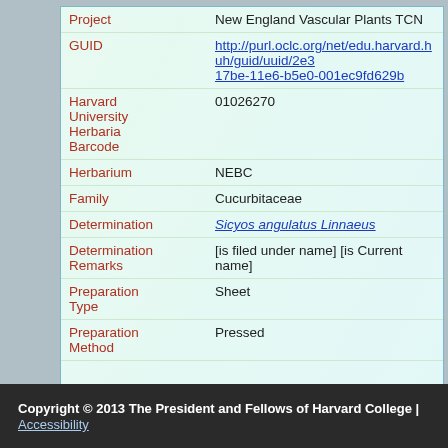| Field | Value |
| --- | --- |
| Project | New England Vascular Plants TCN |
| GUID | http://purl.oclc.org/net/edu.harvard.huh/guid/uuid/2e3...17be-11e6-b5e0-001ec9fd629b |
| Harvard University Herbaria Barcode | 01026270 |
| Herbarium | NEBC |
| Family | Cucurbitaceae |
| Determination | Sicyos angulatus Linnaeus |
| Determination Remarks | [is filed under name] [is Current name] |
| Preparation Type | Sheet |
| Preparation Method | Pressed |
Copyright © 2013 The President and Fellows of Harvard College | Accessibility